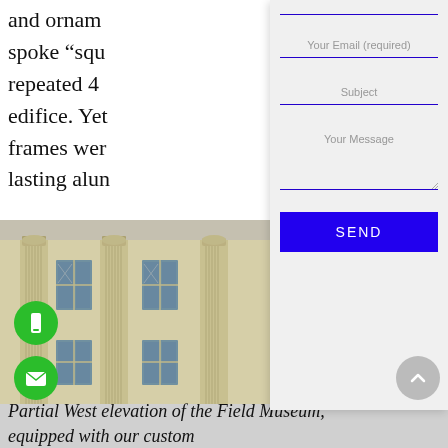and orname spoke “squ repeated 4 edifice. Yet frames wer lasting alun
[Figure (photo): Partial West elevation of the Field Museum building showing columns and ornamental stone facade]
Partial West elevation of the Field Museum, equipped with our custom
[Figure (screenshot): Contact form overlay with fields for Your Email (required), Subject, Your Message, and a SEND button]
[Figure (other): Green circular phone icon button]
[Figure (other): Green circular mail icon button]
[Figure (other): Grey circular up-arrow button]